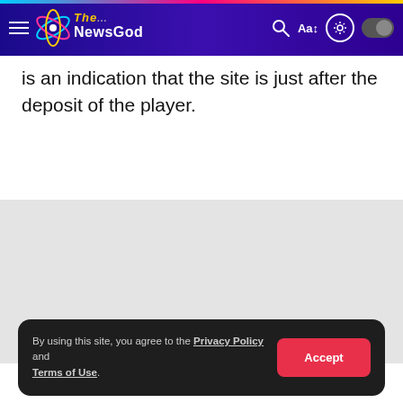The NewsGod
is an indication that the site is just after the deposit of the player.
[Figure (other): Gray advertisement/content placeholder area]
By using this site, you agree to the Privacy Policy and Terms of Use.